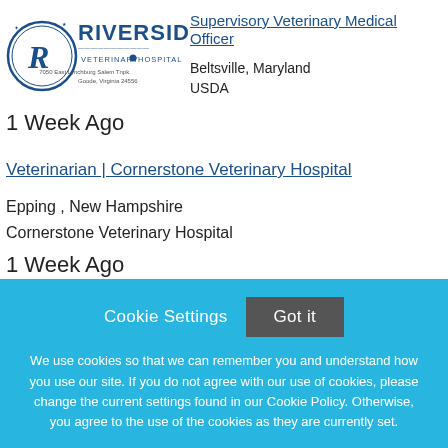[Figure (logo): Riverside Veterinary Hospital logo with circular emblem, address: 7050 East Lynchburg Salem Tnpk., Goode, Virginia 24556]
Supervisory Veterinary Medical Officer
Beltsville, Maryland
USDA
1 Week Ago
Veterinarian | Cornerstone Veterinary Hospital
Epping , New Hampshire
Cornerstone Veterinary Hospital
1 Week Ago
[Figure (logo): Green and white circular logo with a medical cross and animal silhouette]
Managing Veterinarian (DVM) | AAHA -
Cookie Settings
Got it
We use cookies so that we can remember you and understand how you use our site. If you do not agree with our use of cookies, please change the current settings found in our Cookie Policy. Otherwise, you agree to the use of the cookies as they are currently set.